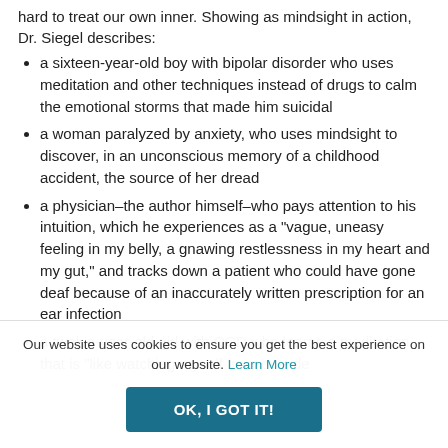hard to treat our own inner. Showing as mindsight in action, Dr. Siegel describes:
a sixteen-year-old boy with bipolar disorder who uses meditation and other techniques instead of drugs to calm the emotional storms that made him suicidal
a woman paralyzed by anxiety, who uses mindsight to discover, in an unconscious memory of a childhood accident, the source of her dread
a physician–the author himself–who pays attention to his intuition, which he experiences as a "vague, uneasy feeling in my belly, a gnawing restlessness in my heart and my gut," and tracks down a patient who could have gone deaf because of an inaccurately written prescription for an ear infection
a twelve-year-old girl with OCD who learns a meditation that is "like watching myself from outside
Our website uses cookies to ensure you get the best experience on our website. Learn More
OK, I GOT IT!